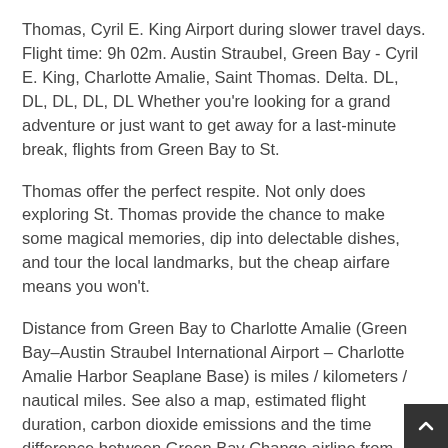Thomas, Cyril E. King Airport during slower travel days. Flight time: 9h 02m. Austin Straubel, Green Bay - Cyril E. King, Charlotte Amalie, Saint Thomas. Delta. DL, DL, DL, DL, DL Whether you're looking for a grand adventure or just want to get away for a last-minute break, flights from Green Bay to St.
Thomas offer the perfect respite. Not only does exploring St. Thomas provide the chance to make some magical memories, dip into delectable dishes, and tour the local landmarks, but the cheap airfare means you won't.
Distance from Green Bay to Charlotte Amalie (Green Bay–Austin Straubel International Airport – Charlotte Amalie Harbor Seaplane Base) is miles / kilometers / nautical miles. See also a map, estimated flight duration, carbon dioxide emissions and the time difference between Green Bay Change airline from Green Bay GRB - Charlotte Amalie Charlotte Amalie.
Prices can be as high asfor Friday flights during late December, or as low asfor Tuesday flights around mid August. When to Fly to Saint Thomas. Flying from Green Bay, WI (GRB) to Charlotte